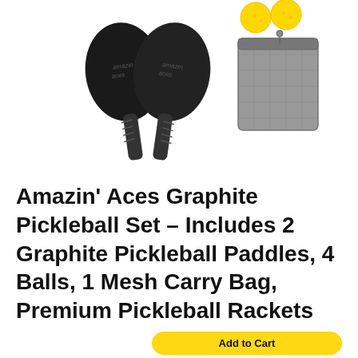[Figure (photo): Product photo showing two black graphite pickleball paddles side by side, three yellow pickleball balls, and a gray mesh carry bag arranged on a white background.]
Amazin' Aces Graphite Pickleball Set – Includes 2 Graphite Pickleball Paddles, 4 Balls, 1 Mesh Carry Bag, Premium Pickleball Rackets Graphite Face, Polymer Honeycomb Core